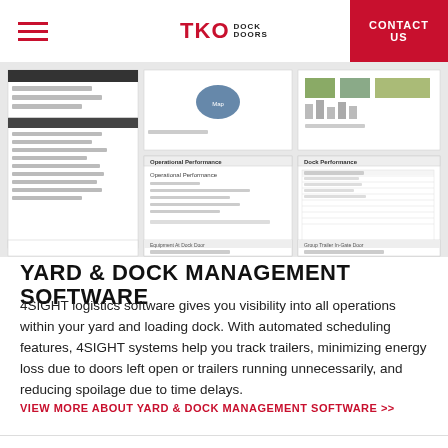TKO DOCK DOORS | CONTACT US
[Figure (screenshot): Screenshot of 4SIGHT yard and dock management software dashboard showing operational performance, dock performance, and scheduling panels]
YARD & DOCK MANAGEMENT SOFTWARE
4SIGHT logistics software gives you visibility into all operations within your yard and loading dock. With automated scheduling features, 4SIGHT systems help you track trailers, minimizing energy loss due to doors left open or trailers running unnecessarily, and reducing spoilage due to time delays.
VIEW MORE ABOUT YARD & DOCK MANAGEMENT SOFTWARE >>